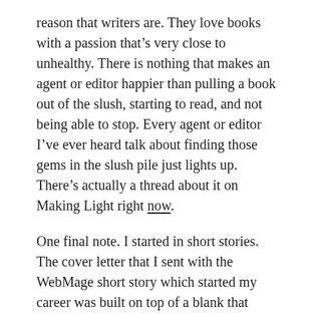reason that writers are. They love books with a passion that's very close to unhealthy. There is nothing that makes an agent or editor happier than pulling a book out of the slush, starting to read, and not being able to stop. Every agent or editor I've ever heard talk about finding those gems in the slush pile just lights up. There's actually a thread about it on Making Light right now.
One final note. I started in short stories. The cover letter that I sent with the WebMage short story which started my career was built on top of a blank that Steve Brust showed me when I was starting out. It looked pretty bare and I was nervous about it, but the story sold, and here I am. Here's the letter minus my no longer valid contact info: